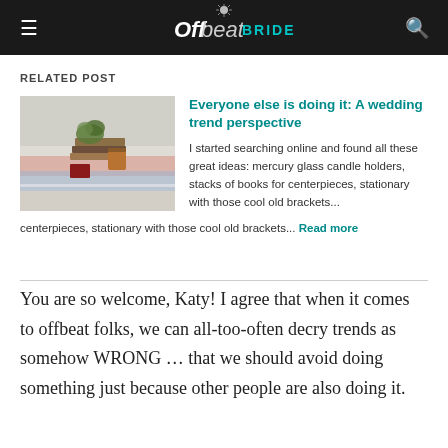Offbeat BRIDE
RELATED POST
[Figure (photo): Wedding table centerpiece with stacked books, greenery, and decorative items on a colorful tablecloth]
Everyone else is doing it: A wedding trend perspective
I started searching online and found all these great ideas: mercury glass candle holders, stacks of books for centerpieces, stationary with those cool old brackets... Read more
You are so welcome, Katy! I agree that when it comes to offbeat folks, we can all-too-often decry trends as somehow WRONG … that we should avoid doing something just because other people are also doing it.